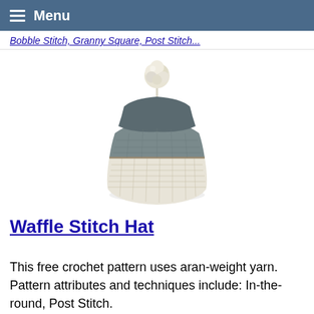Menu
Bobble Stitch, Granny Square, Post Stitch...
[Figure (photo): A crocheted waffle stitch hat with a cream/white lower section and a gray upper section with a cream pom-pom on top, photographed on a white background.]
Waffle Stitch Hat
This free crochet pattern uses aran-weight yarn. Pattern attributes and techniques include: In-the-round, Post Stitch.